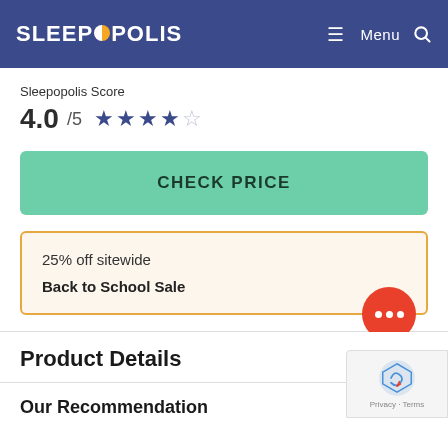SLEEPOPOLIS — Menu (hamburger icon) Search
Sleepopolis Score
4.0 /5 ★★★★☆
CHECK PRICE
25% off sitewide
Back to School Sale
Product Details